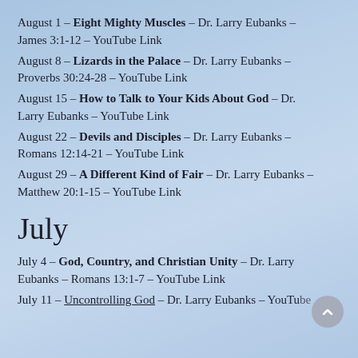August 1 – Eight Mighty Muscles – Dr. Larry Eubanks – James 3:1-12 – YouTube Link
August 8 – Lizards in the Palace – Dr. Larry Eubanks – Proverbs 30:24-28 – YouTube Link
August 15 – How to Talk to Your Kids About God – Dr. Larry Eubanks – YouTube Link
August 22 – Devils and Disciples – Dr. Larry Eubanks – Romans 12:14-21 – YouTube Link
August 29 – A Different Kind of Fair – Dr. Larry Eubanks – Matthew 20:1-15 – YouTube Link
July
July 4 – God, Country, and Christian Unity – Dr. Larry Eubanks – Romans 13:1-7 – YouTube Link
July 11 – Uncontrolling God – Dr. Larry Eubanks – YouTube...